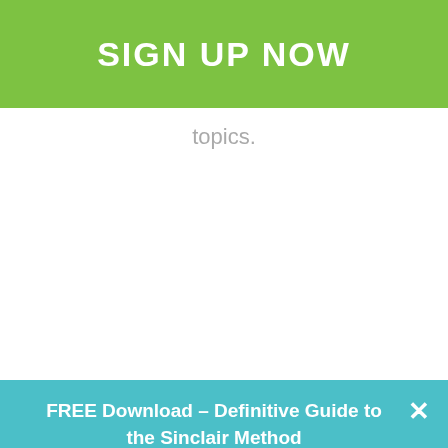SIGN UP NOW
topics.
FREE Download – Definitive Guide to the Sinclair Method
Your email address..
Get Download